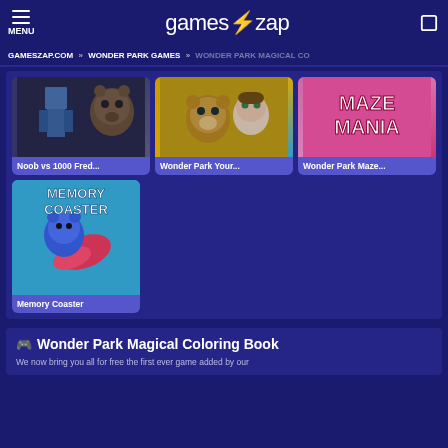MENU | gameszap | [search icon]
GAMESZAP.COM » WONDER PARK GAMES » WONDER PARK MAGICAL CO
[Figure (screenshot): Game thumbnail for Noob vs 1000 Fred... - shows Minecraft-style character and animatronic bear]
Noob vs 1000 Fred...
[Figure (screenshot): Game thumbnail for Wonder Park Your... - shows animated monkey and girl characters]
Wonder Park Your...
[Figure (screenshot): Game thumbnail for Wonder Park Maze... - shows pink Maze Mania title screen]
Wonder Park Maze...
[Figure (screenshot): Game thumbnail for Memory Coaster - shows blue bear on rocket with Memory Coaster text]
Memory Coaster
🎮 Wonder Park Magical Coloring Book
We now bring you all for free the first ever game added by our